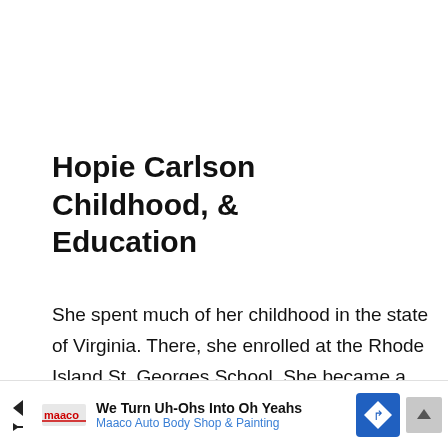Hopie Carlson Childhood, & Education
She spent much of her childhood in the state of Virginia. There, she enrolled at the Rhode Island St. Georges School. She became a senior prefect during her time at college. Moreover, she was quite involved in sports including swimming. She participated in the breaststroke event for 500 yards and 100 yards.
[Figure (other): Advertisement banner: Maaco Auto Body Shop & Painting — We Turn Uh-Ohs Into Oh Yeahs]